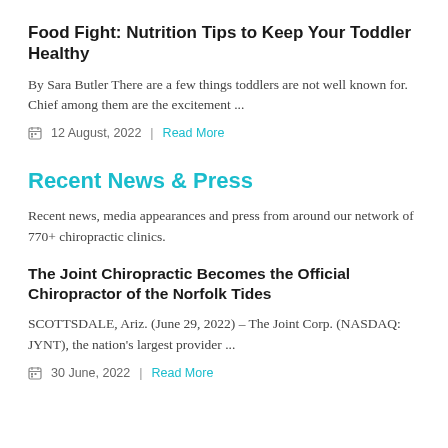Food Fight: Nutrition Tips to Keep Your Toddler Healthy
By Sara Butler There are a few things toddlers are not well known for. Chief among them are the excitement ...
12 August, 2022  |  Read More
Recent News & Press
Recent news, media appearances and press from around our network of 770+ chiropractic clinics.
The Joint Chiropractic Becomes the Official Chiropractor of the Norfolk Tides
SCOTTSDALE, Ariz. (June 29, 2022) – The Joint Corp. (NASDAQ: JYNT), the nation's largest provider ...
30 June, 2022  |  Read More